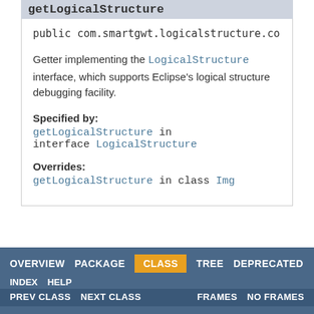getLogicalStructure
public com.smartgwt.logicalstructure.core.
Getter implementing the LogicalStructure interface, which supports Eclipse's logical structure debugging facility.
Specified by:
getLogicalStructure in interface LogicalStructure
Overrides:
getLogicalStructure in class Img
OVERVIEW  PACKAGE  CLASS  TREE  DEPRECATED  INDEX  HELP  |  PREV CLASS  NEXT CLASS  FRAMES  NO FRAMES